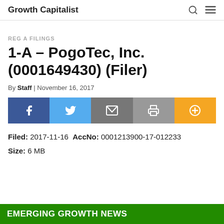Growth Capitalist
REG A FILINGS
1-A – PogoTec, Inc. (0001649430) (Filer)
By Staff | November 16, 2017
[Figure (other): Social sharing buttons: Facebook, Twitter, Email, Print, Plus]
Filed: 2017-11-16  AccNo: 0001213900-17-012233  Size: 6 MB
EMERGING GROWTH NEWS